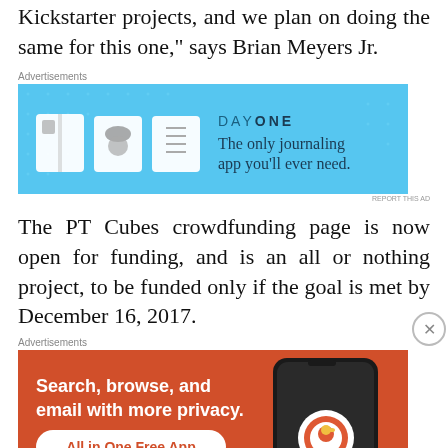...they did it for all previous Kickstarter projects, and we plan on doing the same for this one," says Brian Meyers Jr.
[Figure (infographic): Day One journaling app advertisement. Blue background with app icons and text: 'The only journaling app you'll ever need.']
The PT Cubes crowdfunding page is now open for funding, and is an all or nothing project, to be funded only if the goal is met by December 16, 2017.
[Figure (infographic): DuckDuckGo advertisement. Orange background with text: 'Search, browse, and email with more privacy. All in One Free App' with a phone image and DuckDuckGo logo.]